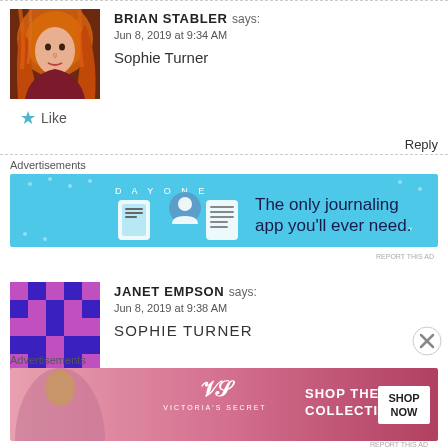BRIAN STABLER says: Jun 8, 2019 at 9:34 AM
Sophie Turner
Like
Reply
Advertisements
[Figure (other): Day One journaling app advertisement banner with blue background and icons]
JANET EMPSON says: Jun 8, 2019 at 9:38 AM
SOPHIE TURNER
Advertisements
[Figure (other): Victoria's Secret shop the collection advertisement banner]